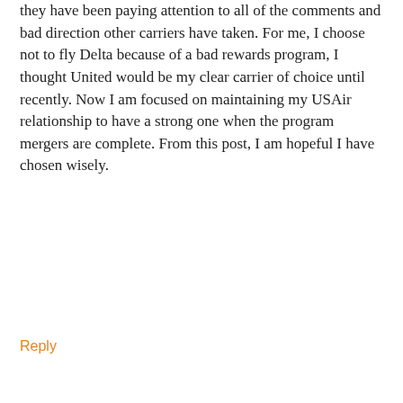they have been paying attention to all of the comments and bad direction other carriers have taken. For me, I choose not to fly Delta because of a bad rewards program, I thought United would be my clear carrier of choice until recently. Now I am focused on maintaining my USAir relationship to have a strong one when the program mergers are complete. From this post, I am hopeful I have chosen wisely.
Reply
[Figure (photo): Circular avatar photo of a man in black and white]
pizzainmotion
July 10, 2014 at 4:14 pm